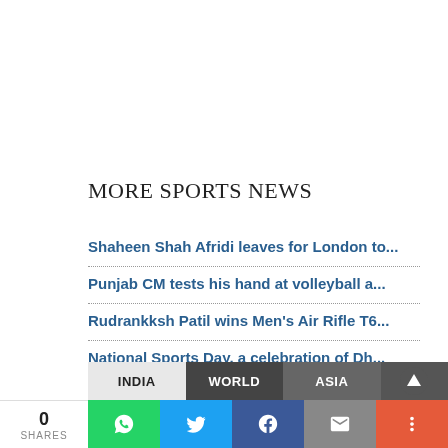MORE SPORTS NEWS
Shaheen Shah Afridi leaves for London to...
Punjab CM tests his hand at volleyball a...
Rudrankksh Patil wins Men's Air Rifle T6...
National Sports Day, a celebration of Dh...
I set my eyes on Paris Olympics, says Li...
Shaheen Shah Afridi leaves for London to...
More...
0 SHARES | INDIA | WORLD | ASIA